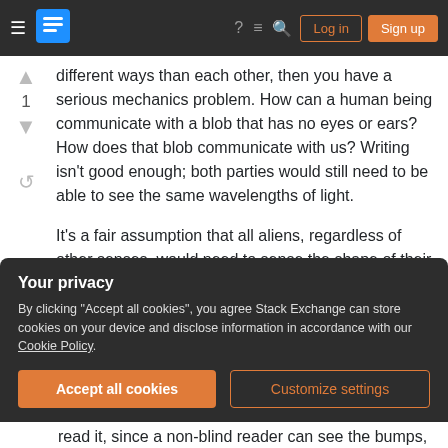Stack Exchange navigation bar with Log in and Sign up buttons
different ways than each other, then you have a serious mechanics problem. How can a human being communicate with a blob that has no eyes or ears? How does that blob communicate with us? Writing isn't good enough; both parties would still need to be able to see the same wavelengths of light.
It's a fair assumption that all aliens, regardless of other senses, would need to sense the shape of their environment and the things in it. This would
Your privacy
By clicking "Accept all cookies", you agree Stack Exchange can store cookies on your device and disclose information in accordance with our Cookie Policy.
read it, since a non-blind reader can see the bumps,